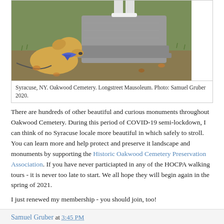[Figure (photo): A yellow Labrador retriever wearing a blue bandana sits beside a stone grave marker/mausoleum at Oakwood Cemetery. The dog is on a leash. Autumn leaves are on the ground. A person in white shoes stands behind the stone.]
Syracuse, NY. Oakwood Cemetery. Longstreet Mausoleum. Photo: Samuel Gruber 2020.
There are hundreds of other beautiful and curious monuments throughout Oakwood Cemetery. During this period of COVID-19 semi-lockdown, I can think of no Syracuse locale more beautiful in which safely to stroll. You can learn more and help protect and preserve it landscape and monuments by supporting the Historic Oakwood Cemetery Preservation Association. If you have never particiapted in any of the HOCPA walking tours - it is never too late to start. We all hope they will begin again in the spring of 2021.
I just renewed my membership - you should join, too!
Samuel Gruber at 3:45 PM